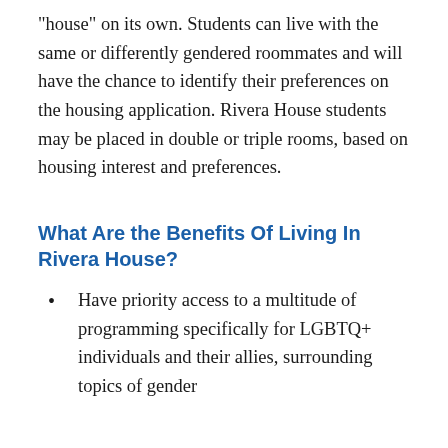“house” on its own. Students can live with the same or differently gendered roommates and will have the chance to identify their preferences on the housing application. Rivera House students may be placed in double or triple rooms, based on housing interest and preferences.
What Are the Benefits Of Living In Rivera House?
Have priority access to a multitude of programming specifically for LGBTQ+ individuals and their allies, surrounding topics of gender